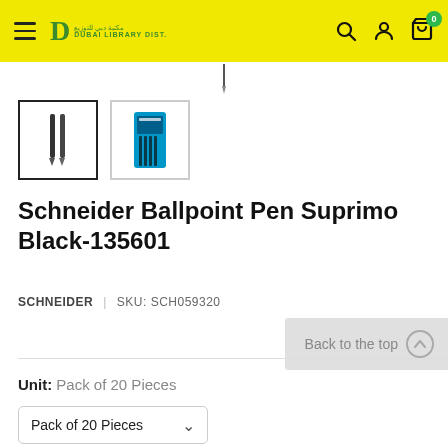Dubai Library Distributors — navigation header with logo, search, account, and cart icons
[Figure (photo): Bottom tip of a black ballpoint pen on white background]
[Figure (photo): Thumbnail 1: Two black ballpoint pens (active/selected)]
[Figure (photo): Thumbnail 2: Pack of Schneider Suprimo pens in blue packaging]
Schneider Ballpoint Pen Suprimo Black-135601
SCHNEIDER | SKU: SCH059320
Back to the top
Unit: Pack of 20 Pieces
Pack of 20 Pieces